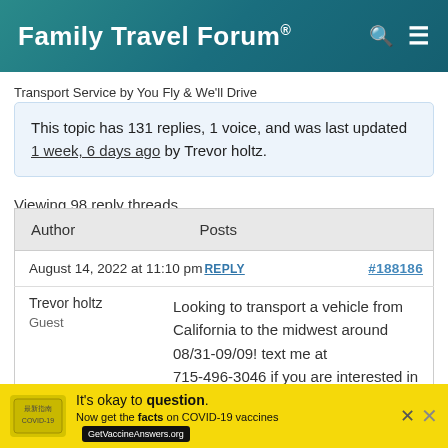Family Travel Forum®
Transport Service by You Fly & We'll Drive
This topic has 131 replies, 1 voice, and was last updated 1 week, 6 days ago by Trevor holtz.
Viewing 98 reply threads
| Author | Posts |
| --- | --- |
| August 14, 2022 at 11:10 pm REPLY | #188186 |
| Trevor holtz
Guest | Looking to transport a vehicle from California to the midwest around 08/31-09/09! text me at 715-496-3046 if you are interested in having |
It's okay to question. Now get the facts on COVID-19 vaccines GetVaccineAnswers.org